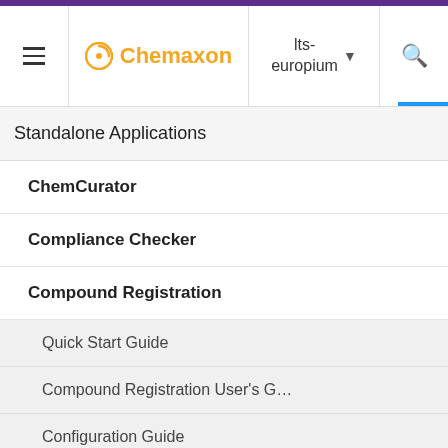Chemaxon — lts-europium
Standalone Applications
ChemCurator
Compliance Checker
Compound Registration
Quick Start Guide
Compound Registration User's G…
Configuration Guide
Deployment Guide
Compound Registration Install…